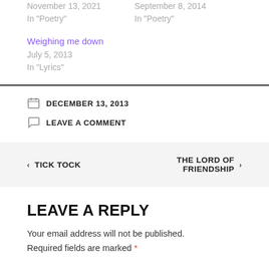November 13, 2021
In "Poetry"
September 8, 2014
In "Poetry"
Weighing me down
July 5, 2013
In "Lyrics"
DECEMBER 13, 2013
LEAVE A COMMENT
‹ TICK TOCK
THE LORD OF FRIENDSHIP ›
LEAVE A REPLY
Your email address will not be published. Required fields are marked *